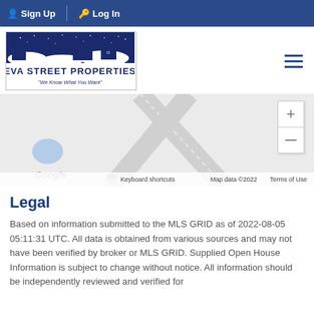Sign Up  Log In
[Figure (logo): Eva Street Properties logo with night sky and house silhouettes, tagline: We Know What You Want]
[Figure (map): Google Maps view showing street intersection with zoom controls (+ and -). Map data ©2022. Keyboard shortcuts. Terms of Use.]
Legal
Based on information submitted to the MLS GRID as of 2022-08-05 05:11:31 UTC. All data is obtained from various sources and may not have been verified by broker or MLS GRID. Supplied Open House Information is subject to change without notice. All information should be independently reviewed and verified for